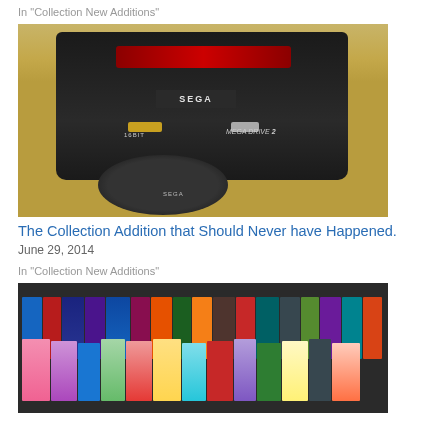In "Collection New Additions"
[Figure (photo): Sega Mega Drive 2 console (black, 16-bit) with a Sega controller on a wooden surface]
The Collection Addition that Should Never have Happened.
June 29, 2014
In "Collection New Additions"
[Figure (photo): Shelf with Sega Mega Drive game cartridges and VHS-style game cases in two rows]